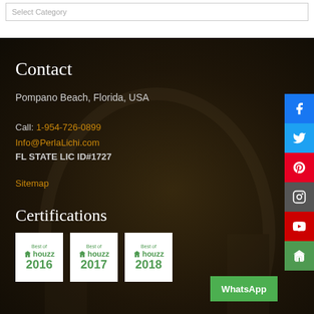Select Category
Contact
Pompano Beach, Florida, USA
Call: 1-954-726-0899
Info@PerlaLichi.com
FL STATE LIC ID#1727
Sitemap
Certifications
[Figure (logo): Best of Houzz 2016 badge]
[Figure (logo): Best of Houzz 2017 badge]
[Figure (logo): Best of Houzz 2018 badge]
WhatsApp